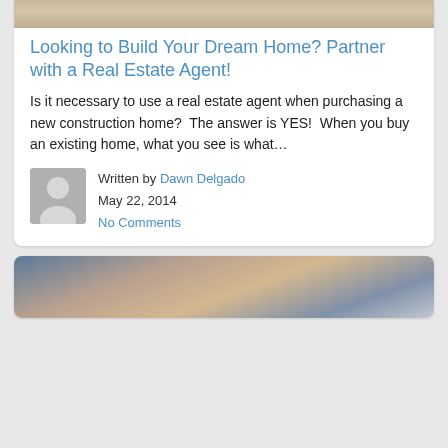[Figure (photo): Top of article card — sandy/outdoor scene photo (cropped, partial view at top of page)]
Looking to Build Your Dream Home? Partner with a Real Estate Agent!
Is it necessary to use a real estate agent when purchasing a new construction home?  The answer is YES!  When you buy an existing home, what you see is what…
Written by Dawn Delgado
May 22, 2014
No Comments
[Figure (photo): Bottom card — photo of people's hands/wrists gathered together, one person wearing a watch]